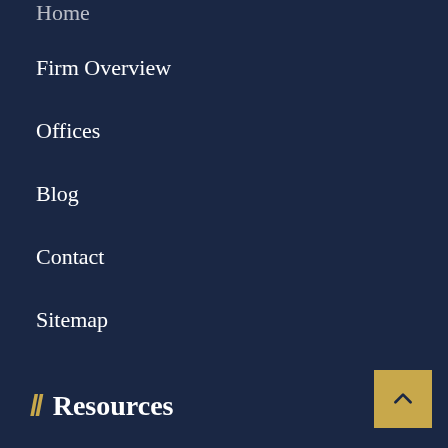Firm Overview
Offices
Blog
Contact
Sitemap
// Resources
Auto Accident Lawyer Newark
Criminal Lawyer Newark
Construction Accident Lawyer New Jersey